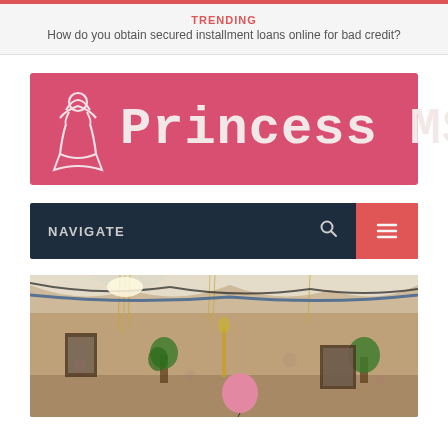TRENDING
How do you obtain secured installment loans online for bad credit?
[Figure (logo): Princess MS website logo — pink/rose banner with princess crown icon and text 'Princess MS' in large bold monospace font]
[Figure (other): Navigation bar with dark navy background, 'NAVIGATE' label, search icon, and red hamburger menu button]
[Figure (photo): Indoor decorated venue photo showing draped fabric, hanging decorations, golden tassels, plants, balloons and framed artwork on floral wallpaper]